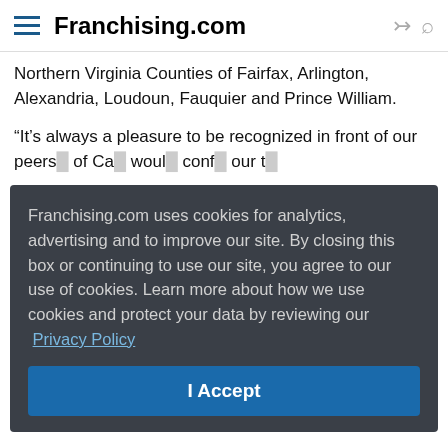Franchising.com
Northern Virginia Counties of Fairfax, Arlington, Alexandria, Loudoun, Fauquier and Prince William.
“It’s always a pleasure to be recognized in front of our peers... of Ca... would... conf... our t...
Carin... in wi... fami... who... custo... – wh...
Franchising.com uses cookies for analytics, advertising and to improve our site. By closing this box or continuing to use our site, you agree to our use of cookies. Learn more about how we use cookies and protect your data by reviewing our Privacy Policy
I Accept